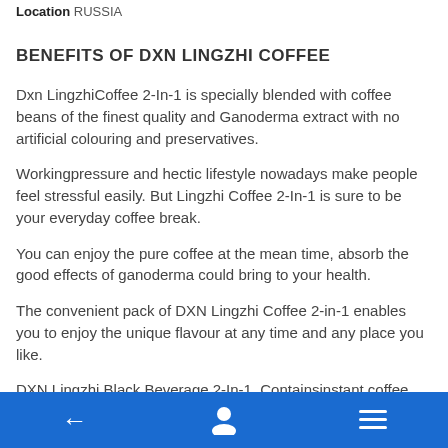Location RUSSIA
BENEFITS OF DXN LINGZHI COFFEE
Dxn LingzhiCoffee 2-In-1 is specially blended with coffee beans of the finest quality and Ganoderma extract with no artificial colouring and preservatives.
Workingpressure and hectic lifestyle nowadays make people feel stressful easily. But Lingzhi Coffee 2-In-1 is sure to be your everyday coffee break.
You can enjoy the pure coffee at the mean time, absorb the good effects of ganoderma could bring to your health.
The convenient pack of DXN Lingzhi Coffee 2-in-1 enables you to enjoy the unique flavour at any time and any place you like.
DXN Lingzhi Black Beverage 2-In-1. Containsinstant coffee...
← [user icon] [menu icon]